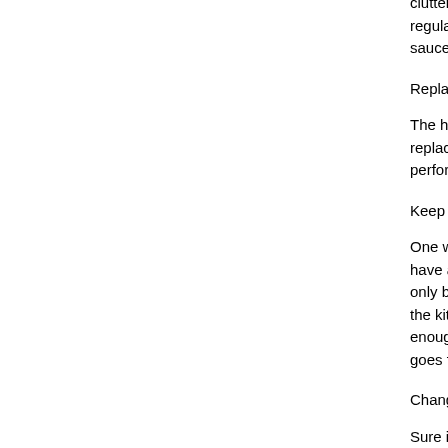clutter. Have this mantra: "If you haven't used it in six months, regularly you would know which items you use frequently. sauce sachets from the Chinese restaurant down the
Replace anything that doesn't work
The handle on the pot that your Nana gave you is alr replace the handles then. Either fix what is broken or perform well.
Keep what is needed readily reachable
One would usually know which kitchen item is used m have and figure out where you will use them most. Ite only bring out during the holidays, can go on high sh the kitchen has earned its right to take up its valuable enough, it should go out altogether. Just because it is goes for the pasta maker that you barely use or the f
Change the “counter is convenient” mentality.
Sure it feels that your kitchen countertop is the most mindset is wrong. What we don’t know is we are sac random items such as knife racks, pots & pans, kitch your kitchen clutter free.
Article Source: http://www.streetarticles.com/kitchen